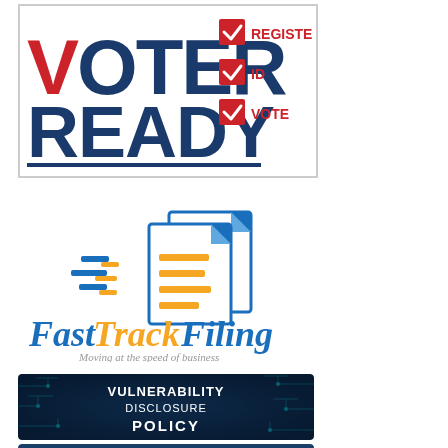[Figure (logo): Voter Ready logo with checkboxes for Register, ID, and Vote. Blue and red text on white background with blue underline.]
[Figure (logo): FastTrackFiling logo with flying documents graphic. Blue italic 'Fast' and orange 'TrackFiling' text with tagline 'Moving at the speed of business'.]
[Figure (infographic): Dark navy banner with circuit board pattern reading 'VULNERABILITY DISCLOSURE POLICY' in white bold text.]
[Figure (infographic): Dark blue banner partially visible reading 'LEARN MORE ABOUT' in bold white text.]